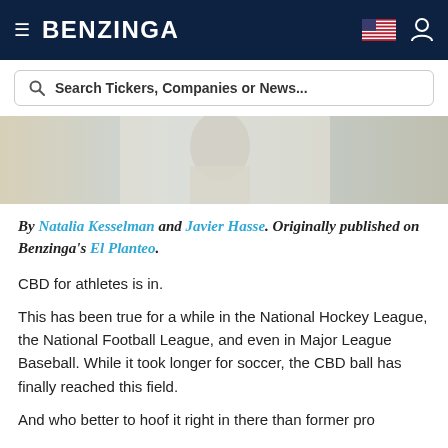BENZINGA
Search Tickers, Companies or News...
[Figure (photo): Cropped photo of a person in white clothing, partially visible, with a beige/tan background]
By Natalia Kesselman and Javier Hasse. Originally published on Benzinga's El Planteo.
CBD for athletes is in.
This has been true for a while in the National Hockey League, the National Football League, and even in Major League Baseball. While it took longer for soccer, the CBD ball has finally reached this field.
And who better to hoof it right in there than former pro